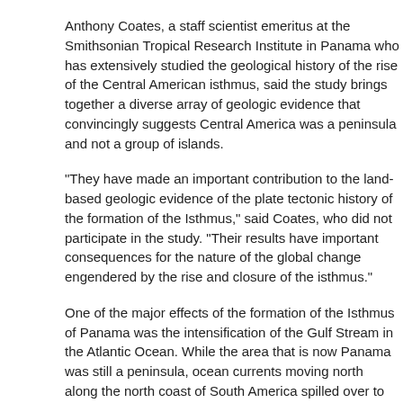Anthony Coates, a staff scientist emeritus at the Smithsonian Tropical Research Institute in Panama who has extensively studied the geological history of the rise of the Central American isthmus, said the study brings together a diverse array of geologic evidence that convincingly suggests Central America was a peninsula and not a group of islands.
"They have made an important contribution to the land-based geologic evidence of the plate tectonic history of the formation of the Isthmus," said Coates, who did not participate in the study. "Their results have important consequences for the nature of the global change engendered by the rise and closure of the isthmus."
One of the major effects of the formation of the Isthmus of Panama was the intensification of the Gulf Stream in the Atlantic Ocean. While the area that is now Panama was still a peninsula, ocean currents moving north along the north coast of South America spilled over to the Pacific Ocean through the wide Central American Seaway, also called the Atrato Seaway. As tectonic plate movement joined the peninsula with South America to form the present-day Isthmus of Panama, equatorial ocean currents between the Atlantic and Pacific were cut off, forcing water northward into the Gulf Stream current.
"The strengthened Gulf Stream, in turn, delivered enough moisture to allow the formation of glaciers across North America," Kirby said.